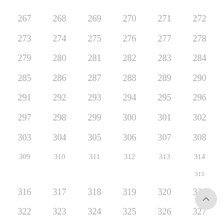267 268 269 270 271 272 273 274 275 276 277 278 279 280 281 282 283 284 285 286 287 288 289 290 291 292 293 294 295 296 297 298 299 300 301 302 303 304 305 306 307 308 309 310 311 312 313 314 315 316 317 318 319 320 321 322 323 324 325 326 327 328 329 330 331 332 333 334 335 336 337 338 339